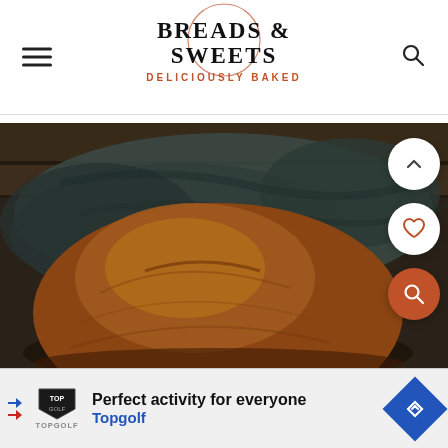BREADS & SWEETS DELICIOUSLY BAKED
[Figure (photo): Close-up photo of a round artisan bread loaf on a dark textile cloth, set against a dark background with a wooden board visible behind.]
Perfect activity for everyone Topgolf